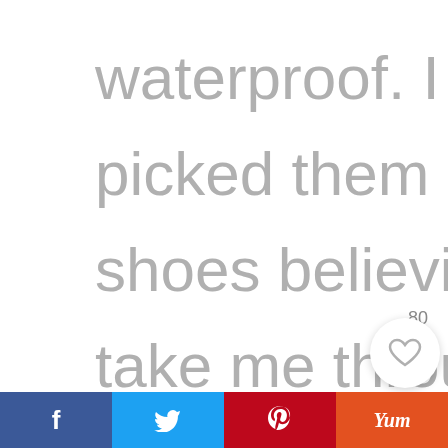waterproof. I originally picked them up as Festival shoes believing they would take me through all weather.  Once I had them, I opted to wear them more
[Figure (screenshot): Like button (heart icon) with count 80, and a circular search button with magnifying glass icon]
[Figure (infographic): Bottom social sharing bar with Facebook (f), Twitter (bird), Pinterest (P), and Yummly (Yum) buttons]